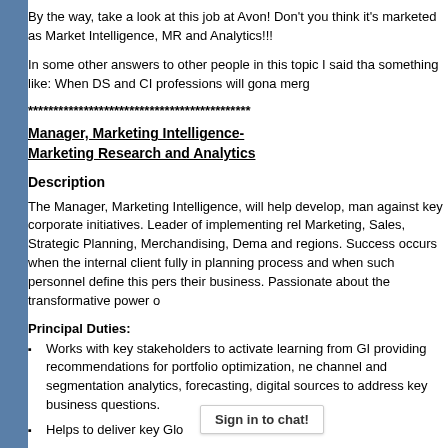By the way, take a look at this job at Avon! Don't you think it's marketed as Market Intelligence, MR and Analytics!!!
In some other answers to other people in this topic I said tha something like: When DS and CI professions will gona merg
********************************************
Manager, Marketing Intelligence- Marketing Research and Analytics
Description
The Manager, Marketing Intelligence, will help develop, man against key corporate initiatives. Leader of implementing rel Marketing, Sales, Strategic Planning, Merchandising, Dema and regions. Success occurs when the internal client fully in planning process and when such personnel define this pers their business. Passionate about the transformative power o
Principal Duties:
Works with key stakeholders to activate learning from GI providing recommendations for portfolio optimization, ne channel and segmentation analytics, forecasting, digital sources to address key business questions.
Helps to deliver key Glo Sign in to chat!